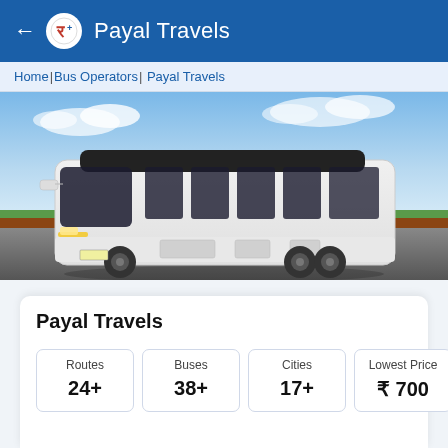← Payal Travels
Home | Bus Operators | Payal Travels
[Figure (photo): White luxury coach bus parked on a highway road with blue sky and green trees in background]
Payal Travels
| Routes | Buses | Cities | Lowest Price |
| --- | --- | --- | --- |
| 24+ | 38+ | 17+ | ₹ 700 |